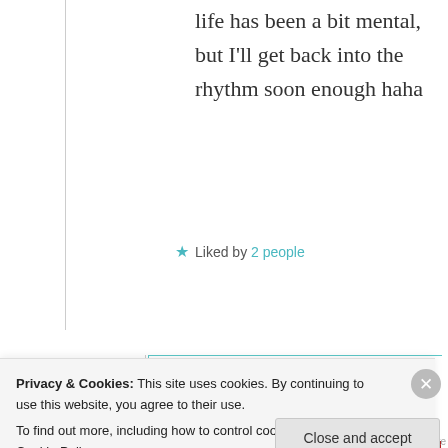life has been a bit mental, but I'll get back into the rhythm soon enough haha
★ Liked by 2 people
[Figure (photo): Circular avatar photo of Suma Reddy, a person with dark hair]
Suma Reddy
25th Aug 2021 at 9:38 pm
Privacy & Cookies: This site uses cookies. By continuing to use this website, you agree to their use.
To find out more, including how to control cookies, see here: Cookie Policy
Close and accept